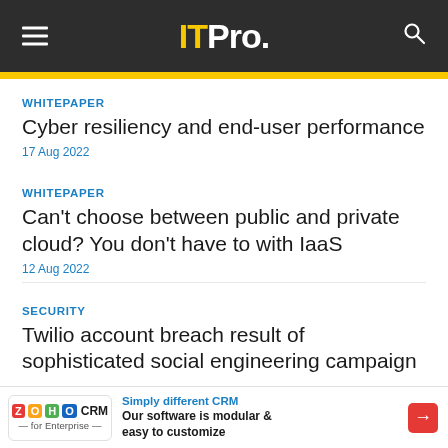ITPro.
WHITEPAPER
Cyber resiliency and end-user performance
17 Aug 2022
WHITEPAPER
Can't choose between public and private cloud? You don't have to with IaaS
12 Aug 2022
SECURITY
Twilio account breach result of sophisticated social engineering campaign
Simply different CRM
Our software is modular & easy to customize